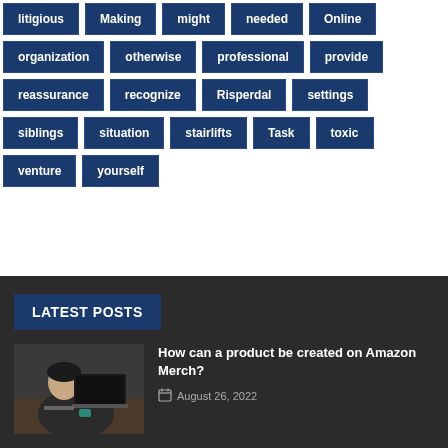litigious
Making
might
needed
Online
organization
otherwise
professional
provide
reassurance
recognize
Risperdal
settings
siblings
situation
stairlifts
Task
toxic
venture
yourself
LATEST POSTS
[Figure (photo): Person sitting at desk using a laptop computer, viewed from behind/side]
How can a product be created on Amazon Merch?
August 26, 2022